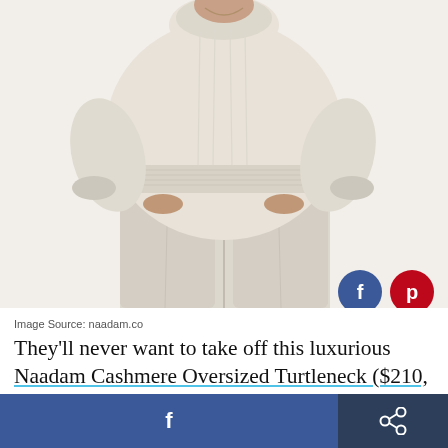[Figure (photo): A woman wearing a cream/beige oversized cashmere turtleneck sweater and matching high-waisted wide-leg trousers, hands in pockets, torso and lower body visible.]
Image Source: naadam.co
They'll never want to take off this luxurious Naadam Cashmere Oversized Turtleneck ($210, originally $350). The comes from diff...
[Figure (other): Bottom navigation bar with Facebook share button (blue) on the left and a share/forward icon on the right dark navy panel.]